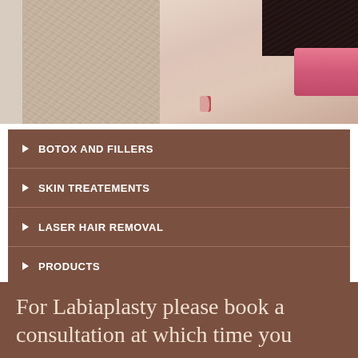[Figure (photo): Split image: left side shows a fluffy fur texture with a wooden panel on the left edge; right side shows a person's legs and torso wearing a black lace top and pink bikini bottom.]
▶ BOTOX AND FILLERS
▶ SKIN TREATEMENTS
▶ LASER HAIR REMOVAL
▶ PRODUCTS
For Labiaplasty please book a consultation at which time you